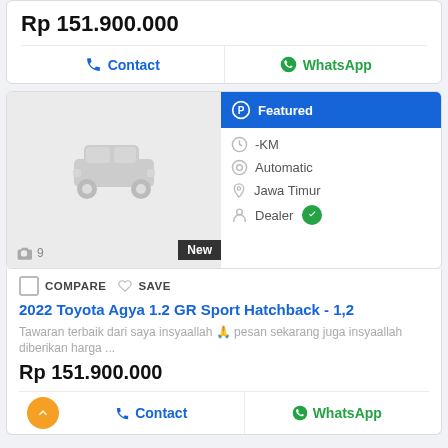Rp 151.900.000
Contact
WhatsApp
[Figure (infographic): Car listing card with featured badge, car placeholder image, photo count 9, New badge, and info: -KM, Automatic, Jawa Timur, Dealer]
COMPARE SAVE
2022 Toyota Agya 1.2 GR Sport Hatchback - 1,2
Tawaran terbaik dari saya insyaallah 🙏 pesan sekarang juga insyaallah diberikan harga ...
Rp 151.900.000
Contact
WhatsApp